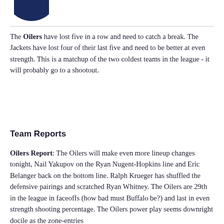[Figure (logo): Edmonton Oilers navy blue circular logo (partial, top of page)]
The Oilers have lost five in a row and need to catch a break. The Jackets have lost four of their last five and need to be better at even strength. This is a matchup of the two coldest teams in the league - it will probably go to a shootout.
Team Reports
Oilers Report: The Oilers will make even more lineup changes tonight, Nail Yakupov on the Ryan Nugent-Hopkins line and Eric Belanger back on the bottom line. Ralph Krueger has shuffled the defensive pairings and scratched Ryan Whitney. The Oilers are 29th in the league in faceoffs (how bad must Buffalo be?) and last in even strength shooting percentage. The Oilers power play seems downright docile as the zone-entries